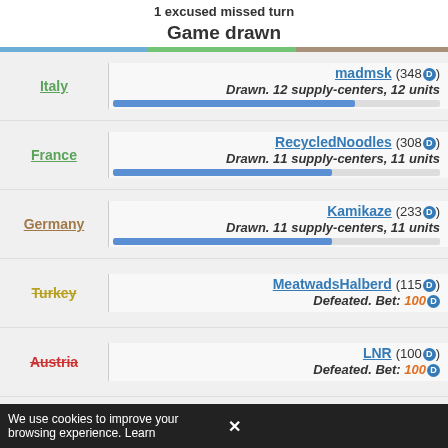1 excused missed turn
Game drawn
| Country | Player | Result |
| --- | --- | --- |
| Italy | madmsk (348D) | Drawn. 12 supply-centers, 12 units |
| France | RecycledNoodles (308D) | Drawn. 11 supply-centers, 11 units |
| Germany | Kamikaze (233D) | Drawn. 11 supply-centers, 11 units |
| Turkey | MeatwadsHalberd (115D) | Defeated. Bet: 100D |
| Austria | LNR (100D) | Defeated. Bet: 100D |
| England | afoster5558 (100D) | Defeated. Bet: 100D |
| Russia | Indnyc (100D) | Defeated. Bet: 100D |
We use cookies to improve your browsing experience. Learn ×